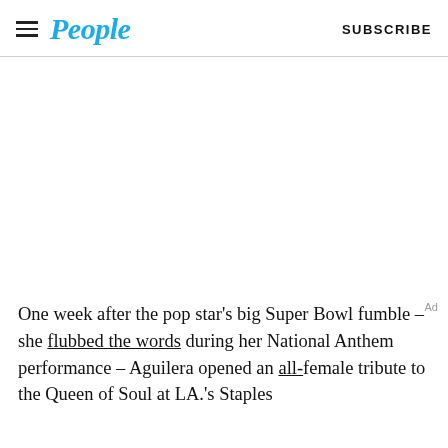People  SUBSCRIBE
[Figure (photo): Large white/blank image area placeholder]
One week after the pop star’s big Super Bowl fumble – she flubbed the words during her National Anthem performance – Aguilera opened an all-female tribute to the Queen of Soul at LA.’s Staples